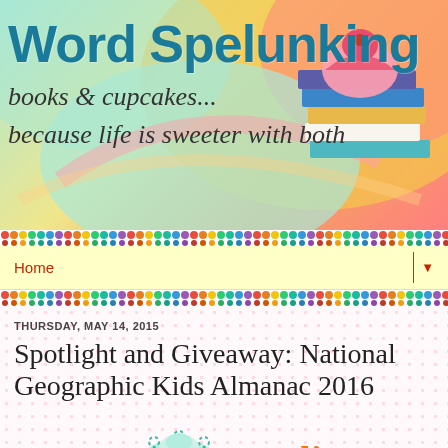[Figure (illustration): Word Spelunking blog banner with teal title text, cursive subtitle 'books & cupcakes... because life is sweeter with both', colorful swirling background with stack of books and cupcake illustration]
Home ▼
THURSDAY, MAY 14, 2015
Spotlight and Giveaway: National Geographic Kids Almanac 2016
[Figure (illustration): Spotlight graphic with teal dotted cupcake shape and orange italic 'Spotlight' text]